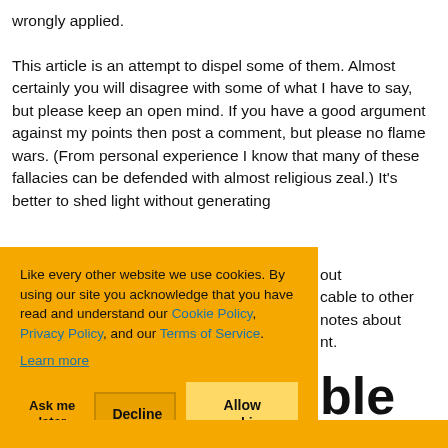wrongly applied.
This article is an attempt to dispel some of them. Almost certainly you will disagree with some of what I have to say, but please keep an open mind. If you have a good argument against my points then post a comment, but please no flame wars. (From personal experience I know that many of these fallacies can be defended with almost religious zeal.) It's better to shed light without generating
Like every other website we use cookies. By using our site you acknowledge that you have read and understand our Cookie Policy, Privacy Policy, and our Terms of Service. Learn more
out cable to other notes about nt.
ble